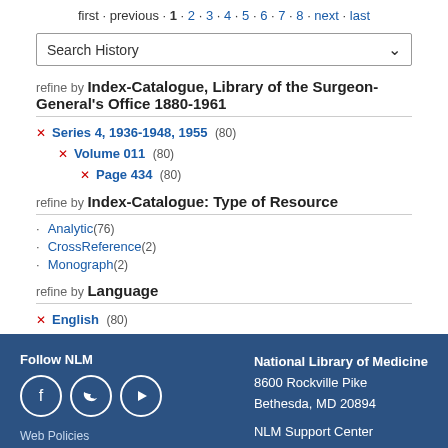first · previous · 1 · 2 · 3 · 4 · 5 · 6 · 7 · 8 · next · last
Search History
refine by Index-Catalogue, Library of the Surgeon-General's Office 1880-1961
× Series 4, 1936-1948, 1955 (80)
× Volume 011 (80)
× Page 434 (80)
refine by Index-Catalogue: Type of Resource
· Analytic (76)
· CrossReference (2)
· Monograph (2)
refine by Language
× English (80)
Follow NLM | National Library of Medicine 8600 Rockville Pike Bethesda, MD 20894 | Web Policies | FOIA | NLM Support Center | Accessibility